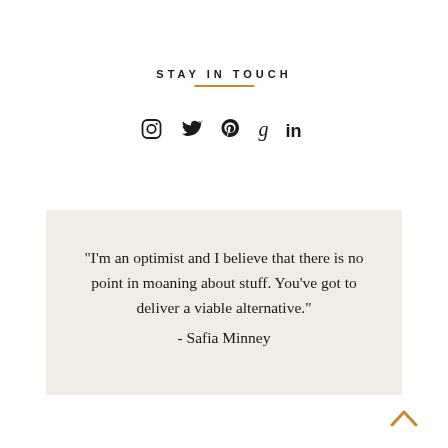STAY IN TOUCH
[Figure (infographic): Row of five social media icons: Instagram, Twitter, Pinterest, Goodreads, LinkedIn]
"I'm an optimist and I believe that there is no point in moaning about stuff. You've got to deliver a viable alternative." - Safia Minney